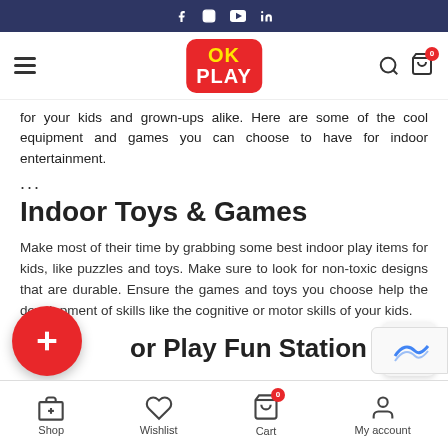Social media icons: Facebook, Instagram, YouTube, LinkedIn
[Figure (screenshot): OK Play website navigation bar with hamburger menu, OK PLAY logo, search icon, and cart icon with badge showing 0]
for your kids and grown-ups alike. Here are some of the cool equipment and games you can choose to have for indoor entertainment.
...
Indoor Toys & Games
Make most of their time by grabbing some best indoor play items for kids, like puzzles and toys. Make sure to look for non-toxic designs that are durable. Ensure the games and toys you choose help the development of skills like the cognitive or motor skills of your kids.
or Play Fun Station
Shop | Wishlist | Cart (0) | My account